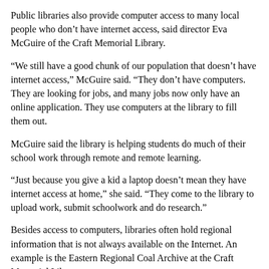Public libraries also provide computer access to many local people who don’t have internet access, said director Eva McGuire of the Craft Memorial Library.
“We still have a good chunk of our population that doesn’t have internet access,” McGuire said. “They don’t have computers. They are looking for jobs, and many jobs now only have an online application. They use computers at the library to fill them out.
McGuire said the library is helping students do much of their school work through remote and remote learning.
“Just because you give a kid a laptop doesn’t mean they have internet access at home,” she said. “They come to the library to upload work, submit schoolwork and do research.”
Besides access to computers, libraries often hold regional information that is not always available on the Internet. An example is the Eastern Regional Coal Archive at the Craft Memorial Library.
“It’s the story of our region,” McGuire said.
And in the age of e-books, there’s still a place for shelves full of the print variety.